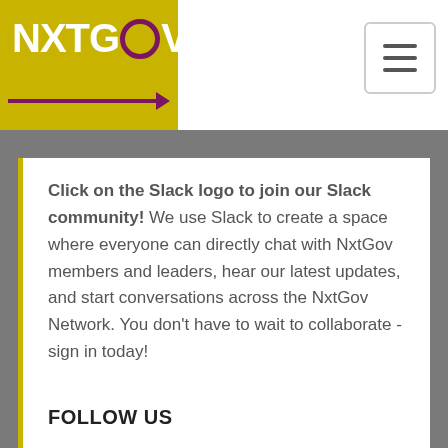[Figure (logo): NxtGov logo on olive/yellow background with hamburger menu button]
Click on the Slack logo to join our Slack community! We use Slack to create a space where everyone can directly chat with NxtGov members and leaders, hear our latest updates, and start conversations across the NxtGov Network. You don't have to wait to collaborate - sign in today!
FOLLOW US